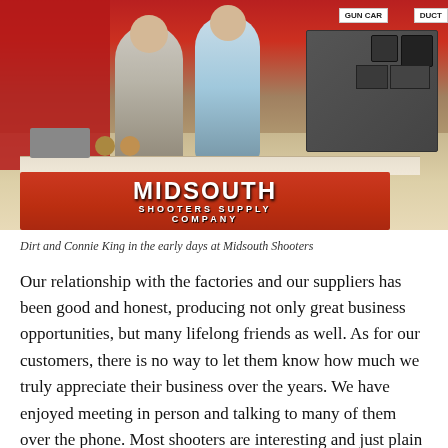[Figure (photo): Two people standing behind a vendor booth/table displaying products, with a large orange Midsouth Shooters Supply Company banner on the front of the table. Signs in the background including GUN CAR and DUCT visible at top right. The booth appears to be at a trade show or gun show.]
Dirt and Connie King in the early days at Midsouth Shooters
Our relationship with the factories and our suppliers has been good and honest, producing not only great business opportunities, but many lifelong friends as well. As for our customers, there is no way to let them know how much we truly appreciate their business over the years. We have enjoyed meeting in person and talking to many of them over the phone. Most shooters are interesting and just plain fantastic people. Then there's our amazing staff! They make such a dream team. Some of them have been with us since we